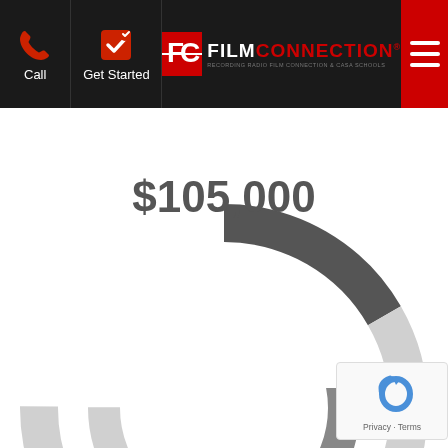Call | Get Started | FILM CONNECTION® | RECORDING RADIO FILM CONNECTION & CASA SCHOOLS
[Figure (donut-chart): Partial donut chart showing Trade School total cost of $105,000, with dark gray arc and light gray arc segments. The top portion of the donut is visible.]
TRADE SCHOOL
$44,000 TUITION
$61,000 LOAN INTEREST
[Figure (donut-chart): Partial bottom donut chart partially visible at page bottom.]